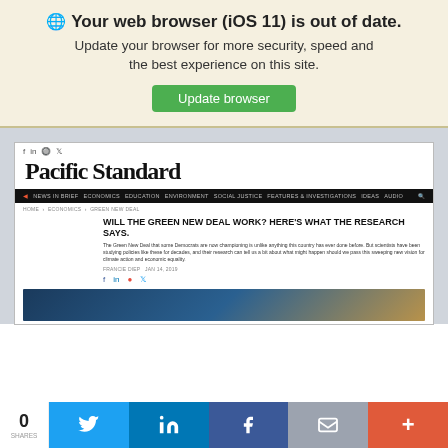🌐 Your web browser (iOS 11) is out of date. Update your browser for more security, speed and the best experience on this site. Update browser
[Figure (screenshot): Screenshot of Pacific Standard website showing article 'Will the Green New Deal Work? Here's What the Research Says.' with navigation bar, social share icons, and partial article image]
0 SHARES
Share buttons: Twitter, LinkedIn, Facebook, Email, More